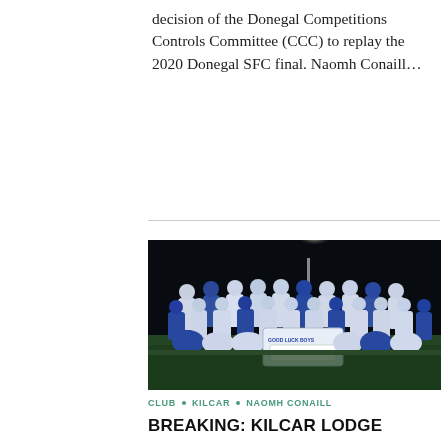decision of the Donegal Competitions Controls Committee (CCC) to replay the 2020 Donegal SFC final. Naomh Conaill…
[Figure (photo): Team photo of football players and staff celebrating on a pitch at night under floodlights, holding a banner reading 'Good Luck Boys', wearing white and blue jerseys.]
CLUB • KILCAR • NAOMH CONAILL
BREAKING: KILCAR LODGE